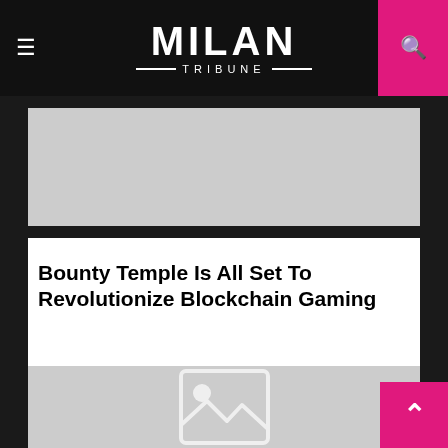MILAN TRIBUNE
[Figure (photo): Top article image placeholder (gray rectangle)]
Bounty Temple Is All Set To Revolutionize Blockchain Gaming
[Figure (photo): Main article image placeholder with image icon (gray rectangle)]